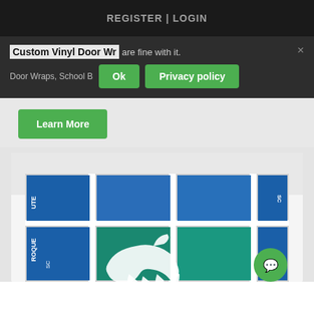REGISTER | LOGIN
Custom Vinyl Door Wr... are fine with it.
Door Wraps, School B...
Ok
Privacy policy
Learn More
[Figure (photo): A door wrapped with custom vinyl graphics showing a blue and teal school spirit design with a horse/bronco mascot logo, displayed on a gridded white door with multiple glass panes.]